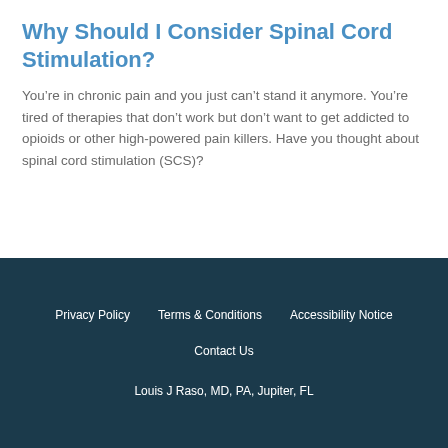Why Should I Consider Spinal Cord Stimulation?
You’re in chronic pain and you just can’t stand it anymore. You’re tired of therapies that don’t work but don’t want to get addicted to opioids or other high-powered pain killers. Have you thought about spinal cord stimulation (SCS)?
Privacy Policy   Terms & Conditions   Accessibility Notice   Contact Us   Louis J Raso, MD, PA, Jupiter, FL